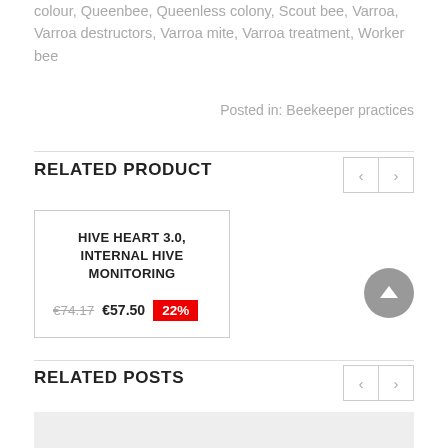colour, Queenbee, Queenless colony, Scout bee, Varroa, Varroa destructors, Varroa mite, Varroa treatment, Worker bee
Posted in: Beekeeper practices
RELATED PRODUCT
HIVE HEART 3.0, INTERNAL HIVE MONITORING
€74.17  €57.50  22%
RELATED POSTS